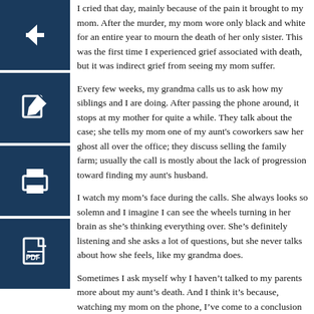I cried that day, mainly because of the pain it brought to my mom. After the murder, my mom wore only black and white for an entire year to mourn the death of her only sister. This was the first time I experienced grief associated with death, but it was indirect grief from seeing my mom suffer.
Every few weeks, my grandma calls us to ask how my siblings and I are doing. After passing the phone around, it stops at my mother for quite a while. They talk about the case; she tells my mom one of my aunt's coworkers saw her ghost all over the office; they discuss selling the family farm; usually the call is mostly about the lack of progression toward finding my aunt's husband.
I watch my mom's face during the calls. She always looks so solemn and I imagine I can see the wheels turning in her brain as she's thinking everything over. She's definitely listening and she asks a lot of questions, but she never talks about how she feels, like my grandma does.
Sometimes I ask myself why I haven't talked to my parents more about my aunt's death. And I think it's because, watching my mom on the phone, I've come to a conclusion that the conversations with my grandma are enough for her to handle.
My mom seems to have accepted it but but it's harder for me to